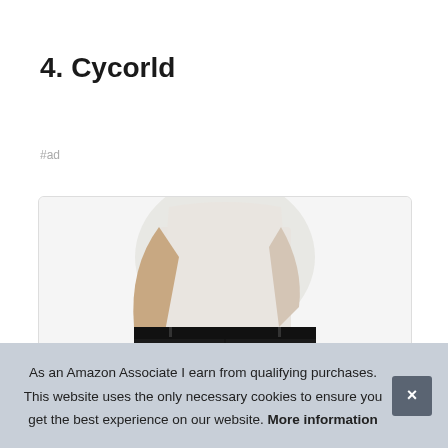4. Cycorld
#ad
[Figure (photo): Product photo of a woman wearing black Cycorld pants with a white long-sleeve top, showing the waistband and a side zipper pocket detail.]
As an Amazon Associate I earn from qualifying purchases. This website uses the only necessary cookies to ensure you get the best experience on our website. More information